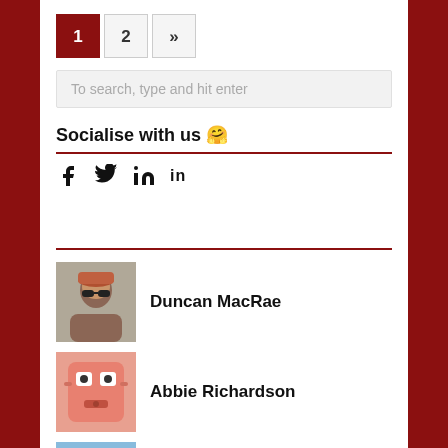1 2 »
To search, type and hit enter
Socialise with us 🤗
[Figure (other): Social media icons: Facebook, Twitter, LinkedIn]
Duncan MacRae
Abbie Richardson
Alessandra Francone